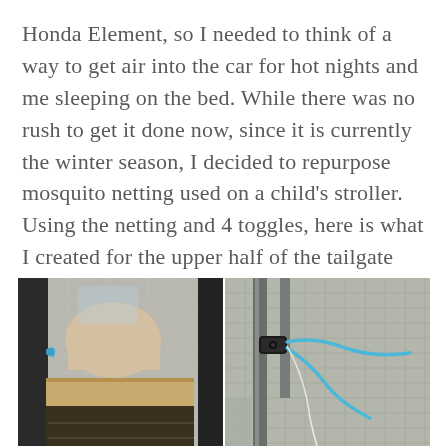Honda Element, so I needed to think of a way to get air into the car for hot nights and me sleeping on the bed. While there was no rush to get it done now, since it is currently the winter season, I decided to repurpose mosquito netting used on a child's stroller. Using the netting and 4 toggles, here is what I created for the upper half of the tailgate area:
[Figure (photo): Photo of the interior of a Honda Element with mosquito netting covering the tailgate area, secured with blue toggles. A headrest and wooden board are visible inside.]
[Figure (photo): Close-up photo of a black toggle/cleat with blue rope/cord securing the mosquito netting to the tailgate of a Honda Element.]